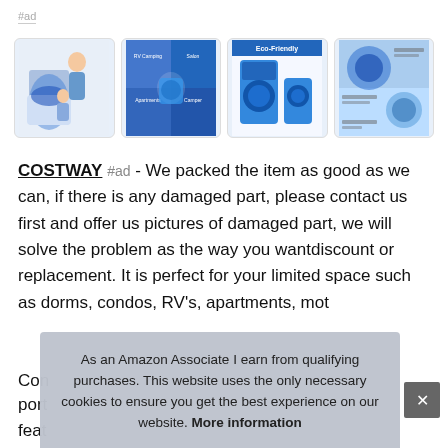#ad
[Figure (photo): Four product thumbnail images of a COSTWAY portable washing machine with blue drum, showing lifestyle, use-case infographic, Eco-Friendly label, and parts diagram views]
COSTWAY #ad - We packed the item as good as we can, if there is any damaged part, please contact us first and offer us pictures of damaged part, we will solve the problem as the way you wantdiscount or replacement. It is perfect for your limited space such as dorms, condos, RV's, apartments, mot
Con
port
feat
As an Amazon Associate I earn from qualifying purchases. This website uses the only necessary cookies to ensure you get the best experience on our website. More information